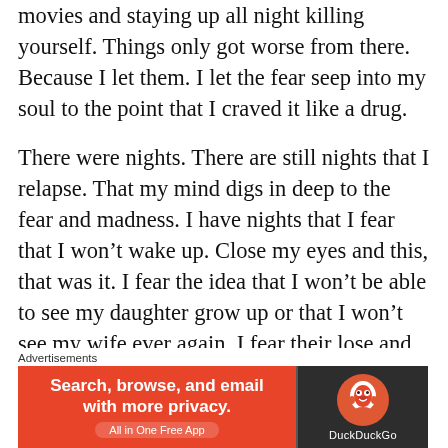movies and staying up all night killing yourself. Things only got worse from there. Because I let them. I let the fear seep into my soul to the point that I craved it like a drug.
There were nights. There are still nights that I relapse. That my mind digs in deep to the fear and madness. I have nights that I fear that I won't wake up. Close my eyes and this, that was it. I fear the idea that I won't be able to see my daughter grow up or that I won't see my wife ever again. I fear their lose and their pain of not having me there as much as I fear the same for myself. I fear that I've
Advertisements
[Figure (screenshot): DuckDuckGo advertisement banner: orange left side with text 'Search, browse, and email with more privacy. All in One Free App' and dark right side with DuckDuckGo logo and text 'DuckDuckGo']